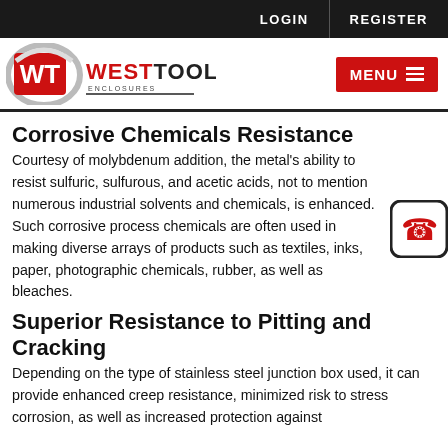LOGIN | REGISTER
[Figure (logo): WestTool Enclosures logo with red WT emblem and MENU button]
Corrosive Chemicals Resistance
Courtesy of molybdenum addition, the metal’s ability to resist sulfuric, sulfurous, and acetic acids, not to mention numerous industrial solvents and chemicals, is enhanced. Such corrosive process chemicals are often used in making diverse arrays of products such as textiles, inks, paper, photographic chemicals, rubber, as well as bleaches.
Superior Resistance to Pitting and Cracking
Depending on the type of stainless steel junction box used, it can provide enhanced creep resistance, minimized risk to stress corrosion, as well as increased protection against